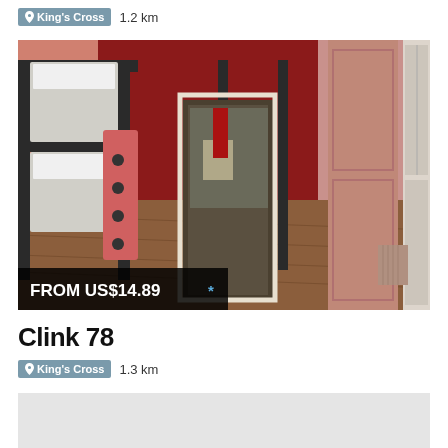King's Cross  1.2 km
[Figure (photo): Interior photo of a hostel room with bunk beds featuring red and black decor, red walls, wooden floor, and view into a corridor with bathroom]
FROM US$14.89 *
Clink 78
King's Cross  1.3 km
[Figure (photo): Partial view of another hostel listing photo, light grey/white]